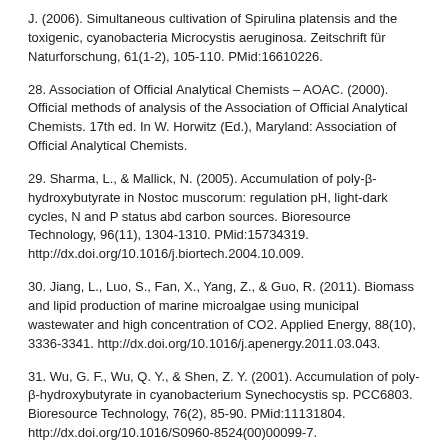J. (2006). Simultaneous cultivation of Spirulina platensis and the toxigenic, cyanobacteria Microcystis aeruginosa. Zeitschrift für Naturforschung, 61(1-2), 105-110. PMid:16610226.
28. Association of Official Analytical Chemists – AOAC. (2000). Official methods of analysis of the Association of Official Analytical Chemists. 17th ed. In W. Horwitz (Ed.), Maryland: Association of Official Analytical Chemists.
29. Sharma, L., & Mallick, N. (2005). Accumulation of poly-β-hydroxybutyrate in Nostoc muscorum: regulation pH, light-dark cycles, N and P status abd carbon sources. Bioresource Technology, 96(11), 1304-1310. PMid:15734319. http://dx.doi.org/10.1016/j.biortech.2004.10.009.
30. Jiang, L., Luo, S., Fan, X., Yang, Z., & Guo, R. (2011). Biomass and lipid production of marine microalgae using municipal wastewater and high concentration of CO2. Applied Energy, 88(10), 3336-3341. http://dx.doi.org/10.1016/j.apenergy.2011.03.043.
31. Wu, G. F., Wu, Q. Y., & Shen, Z. Y. (2001). Accumulation of poly-β-hydroxybutyrate in cyanobacterium Synechocystis sp. PCC6803. Bioresource Technology, 76(2), 85-90. PMid:11131804. http://dx.doi.org/10.1016/S0960-8524(00)00099-7.
32. Sankhla, I. S., Bhati, R., Singh, A. K., & Mallick, N. (2010). Poly(3-hydroxybutyrate-co-3-hydroxyvalerate) co-polymer production from a local isolate...